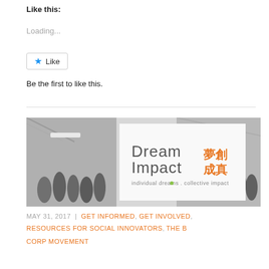Like this:
Loading...
Like
Be the first to like this.
[Figure (photo): Dream Impact banner image showing people at an event in black and white, with the Dream Impact logo and Chinese characters 夢創成真, and tagline 'individual dreams . collective impact']
MAY 31, 2017  |  GET INFORMED, GET INVOLVED, RESOURCES FOR SOCIAL INNOVATORS, THE B CORP MOVEMENT